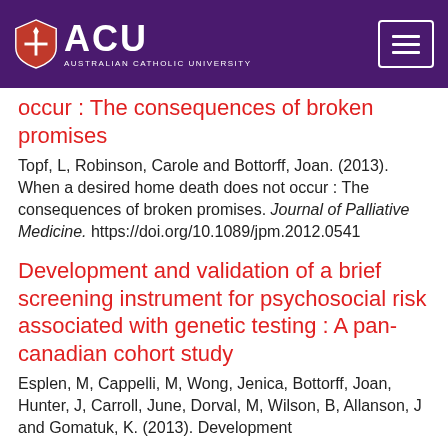ACU — Australian Catholic University
occur : The consequences of broken promises
Topf, L, Robinson, Carole and Bottorff, Joan. (2013). When a desired home death does not occur : The consequences of broken promises. Journal of Palliative Medicine. https://doi.org/10.1089/jpm.2012.0541
Development and validation of a brief screening instrument for psychosocial risk associated with genetic testing : A pan-canadian cohort study
Esplen, M, Cappelli, M, Wong, Jenica, Bottorff, Joan, Hunter, J, Carroll, June, Dorval, M, Wilson, B, Allanson, J and Gomatuk, K. (2013). Development